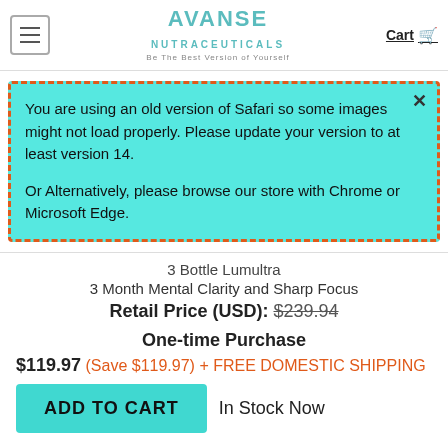AVANSE NUTRACEUTICALS — Be The Best Version of Yourself | Cart
You are using an old version of Safari so some images might not load properly. Please update your version to at least version 14.

Or Alternatively, please browse our store with Chrome or Microsoft Edge.
3 Bottle Lumultra
3 Month Mental Clarity and Sharp Focus
Retail Price (USD): $239.94
One-time Purchase
$119.97 (Save $119.97) + FREE DOMESTIC SHIPPING
ADD TO CART   In Stock Now